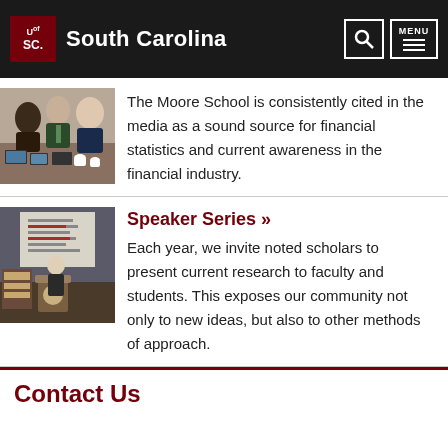University of South Carolina
[Figure (photo): Students gathered around a table with tablets and coffee cups, dressed in business attire]
The Moore School is consistently cited in the media as a sound source for financial statistics and current awareness in the financial industry.
[Figure (photo): A speaker presenting at a podium in front of a projection screen showing a list]
Speaker Series »
Each year, we invite noted scholars to present current research to faculty and students. This exposes our community not only to new ideas, but also to other methods of approach.
Contact Us